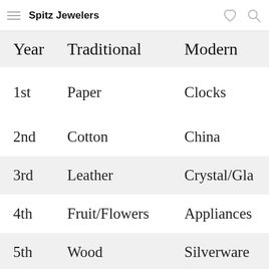Spitz Jewelers
| Year | Traditional | Modern |
| --- | --- | --- |
| 1st | Paper | Clocks |
| 2nd | Cotton | China |
| 3rd | Leather | Crystal/Gla |
| 4th | Fruit/Flowers | Appliances |
| 5th | Wood | Silverware |
| 6th | Candy/Iron | Wood |
| 7th | Wool/Copper | Desk Sets |